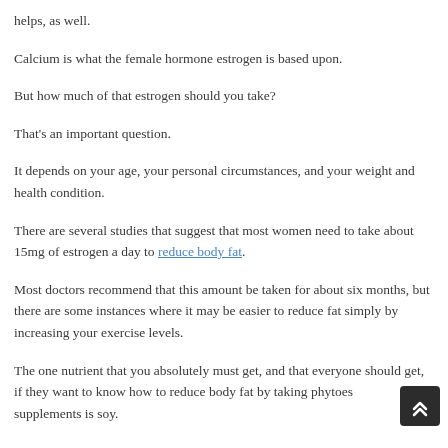helps, as well.
Calcium is what the female hormone estrogen is based upon.
But how much of that estrogen should you take?
That's an important question.
It depends on your age, your personal circumstances, and your weight and health condition.
There are several studies that suggest that most women need to take about 15mg of estrogen a day to reduce body fat.
Most doctors recommend that this amount be taken for about six months, but there are some instances where it may be easier to reduce fat simply by increasing your exercise levels.
The one nutrient that you absolutely must get, and that everyone should get, if they want to know how to reduce body fat by taking phytoestrogen supplements is soy.